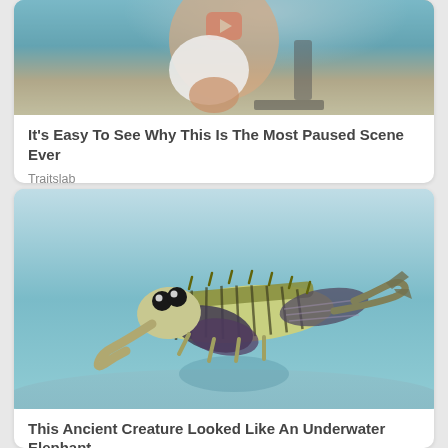[Figure (photo): Video thumbnail showing a woman in a white dress sitting in a chair, with a YouTube play button overlay. Background appears to be a tiled room.]
It's Easy To See Why This Is The Most Paused Scene Ever
Traitslab
[Figure (illustration): Illustration of an ancient underwater creature resembling an elephant-trilobite hybrid, swimming in a blue underwater environment with sandy floor below.]
This Ancient Creature Looked Like An Underwater Elephant